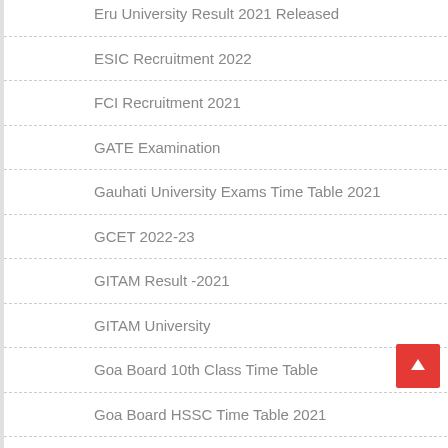Eru University Result 2021 Released
ESIC Recruitment 2022
FCI Recruitment 2021
GATE Examination
Gauhati University Exams Time Table 2021
GCET 2022-23
GITAM Result -2021
GITAM University
Goa Board 10th Class Time Table
Goa Board HSSC Time Table 2021
Gondwana University
Gondwana University Time Table Winter 2021
Government Bharti 2019